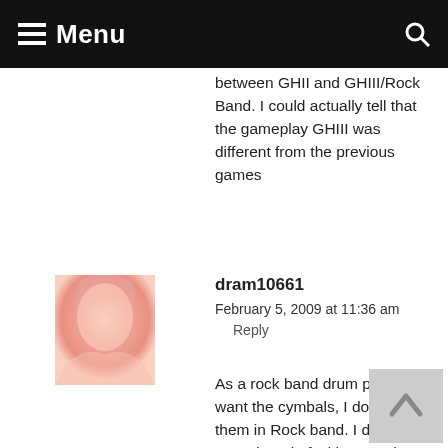Menu
between GHII and GHIII/Rock Band. I could actually tell that the gameplay GHIII was different from the previous games
dram10661
February 5, 2009 at 11:36 am
Reply
As a rock band drum player, I want the cymbals, I do. I want them in Rock band. I do not want them in fucking Band Hero or any such shit.
also, in regard to that GH trailer for the DS... I never got around to buying a GH game, and now I'm glad; I have no insult strong enough for those fuckers.